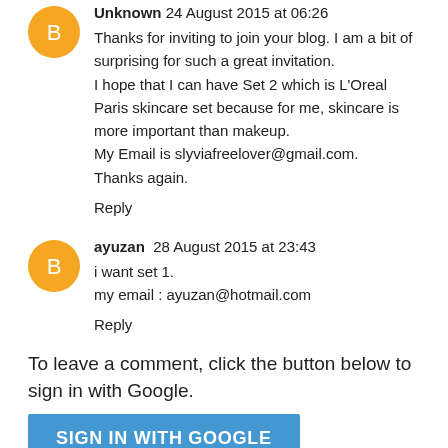Unknown 24 August 2015 at 06:26
Thanks for inviting to join your blog. I am a bit of surprising for such a great invitation.
I hope that I can have Set 2 which is L'Oreal Paris skincare set because for me, skincare is more important than makeup.
My Email is slyviafreelover@gmail.com.
Thanks again.
Reply
ayuzan 28 August 2015 at 23:43
i want set 1.
my email : ayuzan@hotmail.com
Reply
To leave a comment, click the button below to sign in with Google.
SIGN IN WITH GOOGLE
Thank you for taking the time out to read my blog!